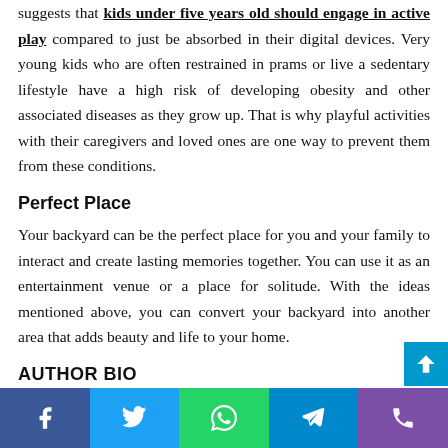suggests that kids under five years old should engage in active play compared to just be absorbed in their digital devices. Very young kids who are often restrained in prams or live a sedentary lifestyle have a high risk of developing obesity and other associated diseases as they grow up. That is why playful activities with their caregivers and loved ones are one way to prevent them from these conditions.
Perfect Place
Your backyard can be the perfect place for you and your family to interact and create lasting memories together. You can use it as an entertainment venue or a place for solitude. With the ideas mentioned above, you can convert your backyard into another area that adds beauty and life to your home.
AUTHOR BIO